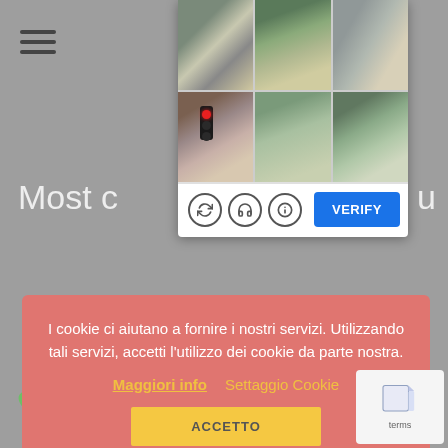[Figure (screenshot): reCAPTCHA image challenge widget showing a 3x2 grid of street scene photos for traffic light identification. Controls include refresh, audio, and info icons, plus a blue VERIFY button.]
Most c u
22
I cookie ci aiutano a fornire i nostri servizi. Utilizzando tali servizi, accetti l'utilizzo dei cookie da parte nostra.
Maggiori info    Settaggio Cookie
ACCETTO